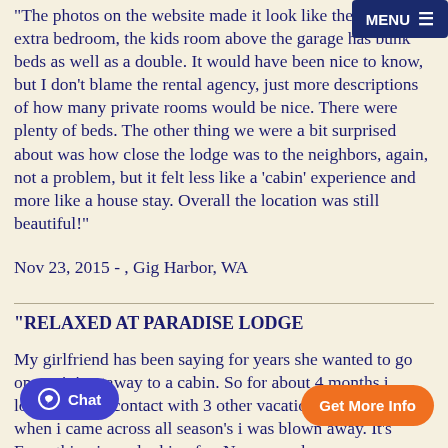The photos on the website made it look like there was one extra bedroom, the kids room above the garage has bunk beds as well as a double. It would have been nice to know, but I don't blame the rental agency, just more descriptions of how many private rooms would be nice. There were plenty of beds. The other thing we were a bit surprised about was how close the lodge was to the neighbors, again, not a problem, but it felt less like a 'cabin' experience and more like a house stay. Overall the location was still beautiful!"
Nov 23, 2015 - , Gig Harbor, WA
"RELAXED AT PARADISE LODGE
My girlfriend has been saying for years she wanted to go on a mini getaway to a cabin. So for about 4 months i looked, made contact with 3 other vacation properties, but when i came across all season's i was blown away. It's Everything i was looking for. N home was newer,updat appliances,game room, hot tub, and the overall look of the property was awesome. I had 14 adults with...